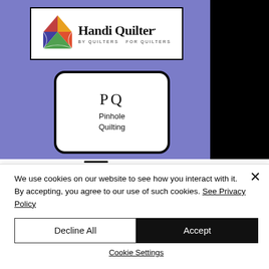[Figure (logo): Handi Quilter logo — colorful quilt-pattern icon on the left, bold serif text 'Handi Quilter.' with tagline 'BY QUILTERS FOR QUILTERS' below, all inside a white rectangle with black border on a purple/lavender background]
[Figure (logo): Pinhole Quilting logo — letters 'PQ' in serif font above text 'Pinhole Quilting', inside a rounded white rectangle with thick black border]
[Figure (illustration): Hamburger menu icon: three horizontal black lines]
[Figure (infographic): Green banner button reading 'Buy Accessories Online' in bold black text]
We use cookies on our website to see how you interact with it. By accepting, you agree to our use of such cookies. See Privacy Policy
Decline All
Accept
Cookie Settings